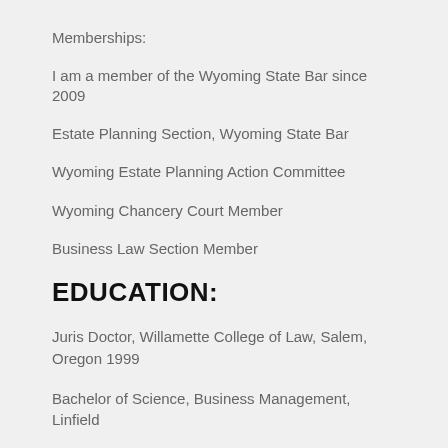Memberships:
I am a member of the Wyoming State Bar since 2009
Estate Planning Section, Wyoming State Bar
Wyoming Estate Planning Action Committee
Wyoming Chancery Court Member
Business Law Section Member
EDUCATION:
Juris Doctor, Willamette College of Law, Salem, Oregon 1999
Bachelor of Science, Business Management, Linfield